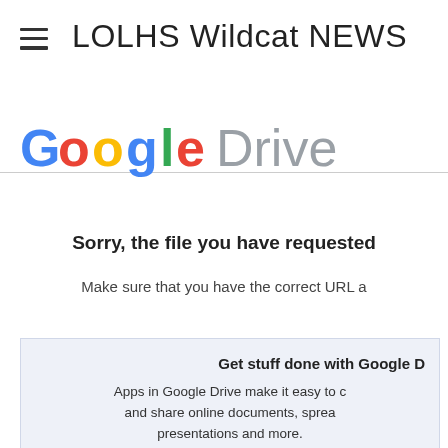LOLHS Wildcat NEWS
[Figure (logo): Google Drive logo, partially cropped at right edge]
Sorry, the file you have requested
Make sure that you have the correct URL a
Get stuff done with Google D
Apps in Google Drive make it easy to c and share online documents, sprea presentations and more.
Learn more at drive.google.com/st